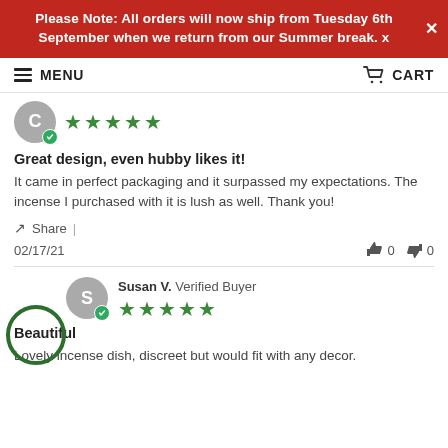Please Note: All orders will now ship from Tuesday 6th September when we return from our Summer break. x
MENU  CART
Great design, even hubby likes it!
It came in perfect packaging and it surpassed my expectations. The incense I purchased with it is lush as well. Thank you!
Share
02/17/21  0  0
Susan V.  Verified Buyer
Beautiful
Lovely incense dish, discreet but would fit with any decor.